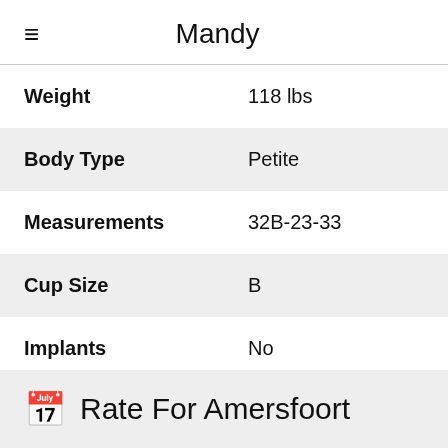≡ Mandy
| Field | Value |
| --- | --- |
| Weight | 118 lbs |
| Body Type | Petite |
| Measurements | 32B-23-33 |
| Cup Size | B |
| Implants | No |
Rate For Amersfoort